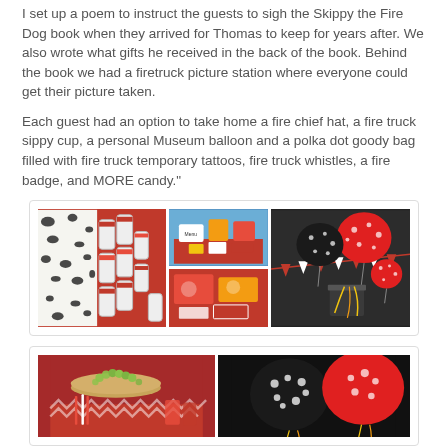I set up a poem to instruct the guests to sigh the Skippy the Fire Dog book when they arrived for Thomas to keep for years after. We also wrote what gifts he received in the back of the book. Behind the book we had a firetruck picture station where everyone could get their picture taken.
Each guest had an option to take home a fire chief hat, a fire truck sippy cup, a personal Museum balloon and a polka dot goody bag filled with fire truck temporary tattoos, fire truck whistles, a fire badge, and MORE candy."
[Figure (photo): Collage of three fire truck birthday party photos: dalmatian-spotted water bottles on red table on left, colorful party table setup in middle two panels, and red and black polka dot balloons with pennant bunting on right]
[Figure (photo): Two party photos: left shows food/snack table with red and white chevron items, right shows black and white polka dot balloons with metallic streamers]